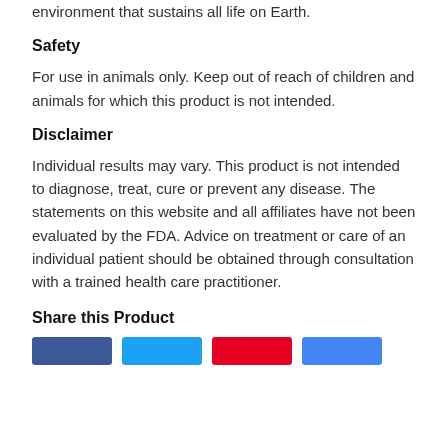environment that sustains all life on Earth.
Safety
For use in animals only. Keep out of reach of children and animals for which this product is not intended.
Disclaimer
Individual results may vary. This product is not intended to diagnose, treat, cure or prevent any disease. The statements on this website and all affiliates have not been evaluated by the FDA. Advice on treatment or care of an individual patient should be obtained through consultation with a trained health care practitioner.
Share this Product
[Figure (other): Four social share buttons: Facebook (blue), Twitter (light blue), Pinterest (red), Google+ (blue)]